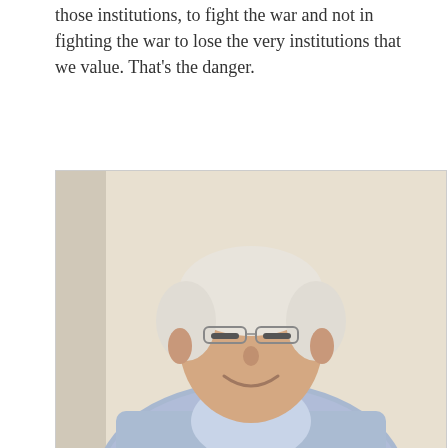those institutions, to fight the war and not in fighting the war to lose the very institutions that we value. That's the danger.
[Figure (photo): Portrait photo of an older man with white/grey hair, glasses, smiling, wearing a light blue striped shirt, seated against a light beige/cream wall]
Chris Donnelly is Director of the Institute for Statecraft in London